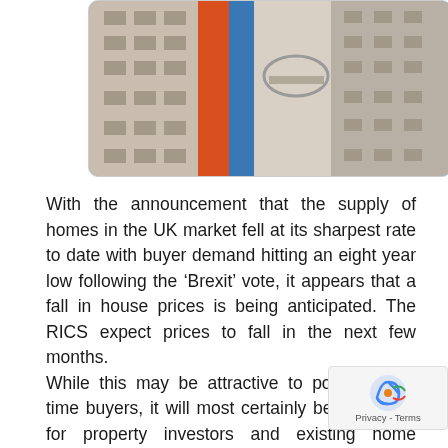[Figure (photo): Photograph of modern apartment buildings with red, blue, and beige facades, taken from below looking upward, showing balconies and windows.]
With the announcement that the supply of homes in the UK market fell at its sharpest rate to date with buyer demand hitting an eight year low following the 'Brexit' vote, it appears that a fall in house prices is being anticipated. The RICS expect prices to fall in the next few months.
While this may be attractive to potential first time buyers, it will most certainly be bad news for property investors and existing home owners.
The fall in supply to the market is down to potential sellers uncertain if now is the right time to sell following the recent referendum result. The dramatic 'Brexit' result combined simultaneous with political uncertainty and instability with leadership changes in both leading political parties, has left the housing market in